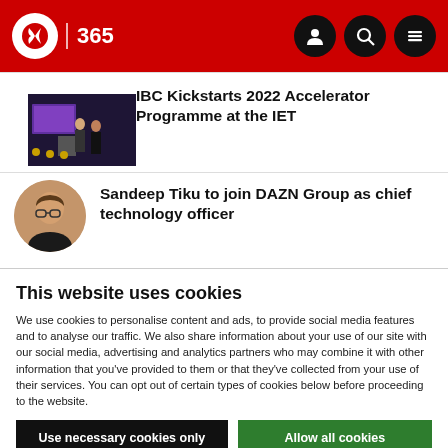IBC 365
[Figure (photo): Two people presenting on stage with a screen behind them]
IBC Kickstarts 2022 Accelerator Programme at the IET
[Figure (photo): Headshot of a man with glasses]
Sandeep Tiku to join DAZN Group as chief technology officer
This website uses cookies
We use cookies to personalise content and ads, to provide social media features and to analyse our traffic. We also share information about your use of our site with our social media, advertising and analytics partners who may combine it with other information that you've provided to them or that they've collected from your use of their services. You can opt out of certain types of cookies below before proceeding to the website.
Use necessary cookies only
Allow all cookies
Show details